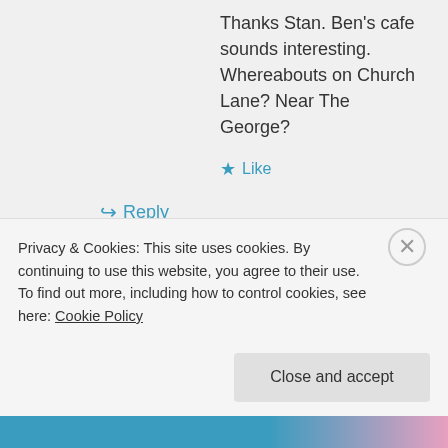Thanks Stan. Ben's cafe sounds interesting. Whereabouts on Church Lane? Near The George?
★ Like
↪ Reply
Stan hardy on December 22, 2015 at 6:40 pm
Bens cafe at the top end of church
Privacy & Cookies: This site uses cookies. By continuing to use this website, you agree to their use.
To find out more, including how to control cookies, see here: Cookie Policy
Close and accept